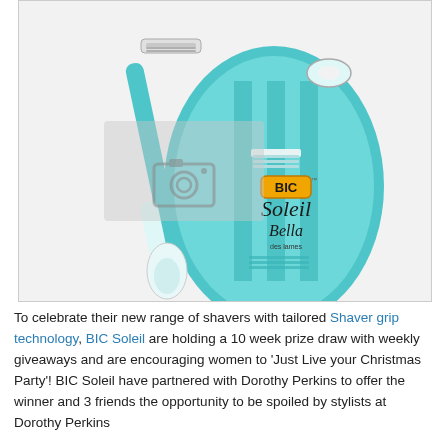[Figure (photo): Product photo of BIC Soleil Bella shaver — a teal/aqua-coloured women's razor with a white grip, shown alongside its curved teal packaging card with the BIC Soleil Bella logo. A watermark camera icon is overlaid in the centre.]
To celebrate their new range of shavers with tailored Shaver grip technology, BIC Soleil are holding a 10 week prize draw with weekly giveaways and are encouraging women to 'Just Live your Christmas Party'! BIC Soleil have partnered with Dorothy Perkins to offer the winner and 3 friends the opportunity to be spoiled by stylists at Dorothy Perkins